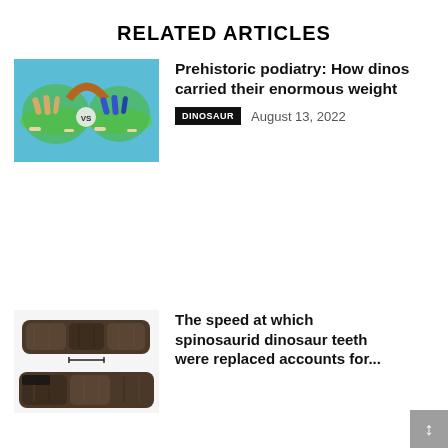RELATED ARTICLES
[Figure (illustration): Animated/illustrated image showing two circular platforms with dinosaur feet and bones, with a 'vs' label, on a blue background]
Prehistoric podiatry: How dinos carried their enormous weight
DINOSAUR   August 13, 2022
[Figure (photo): Photo of dark fossilized spinosaurid dinosaur teeth specimens on a white background]
The speed at which spinosaurid dinosaur teeth were replaced accounts for...